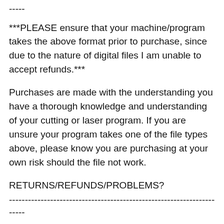-----
***PLEASE ensure that your machine/program takes the above format prior to purchase, since due to the nature of digital files I am unable to accept refunds.***
Purchases are made with the understanding you have a thorough knowledge and understanding of your cutting or laser program. If you are unsure your program takes one of the file types above, please know you are purchasing at your own risk should the file not work.
RETURNS/REFUNDS/PROBLEMS?
----------------------------------------------------------------------
-----
As stated above, due to the digital nature of the